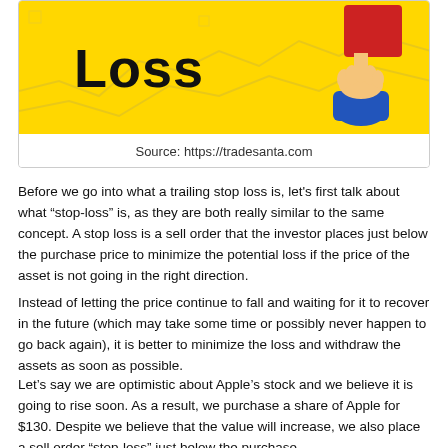[Figure (illustration): Yellow background illustration showing the word 'Loss' in large bold black text alongside a hand holding a red card/square, on a yellow background with faint trading chart symbols.]
Source: https://tradesanta.com
Before we go into what a trailing stop loss is, let's first talk about what “stop-loss” is, as they are both really similar to the same concept. A stop loss is a sell order that the investor places just below the purchase price to minimize the potential loss if the price of the asset is not going in the right direction.
Instead of letting the price continue to fall and waiting for it to recover in the future (which may take some time or possibly never happen to go back again), it is better to minimize the loss and withdraw the assets as soon as possible.
Let’s say we are optimistic about Apple’s stock and we believe it is going to rise soon. As a result, we purchase a share of Apple for $130. Despite we believe that the value will increase, we also place a sell order “stop-loss” just below the purchase